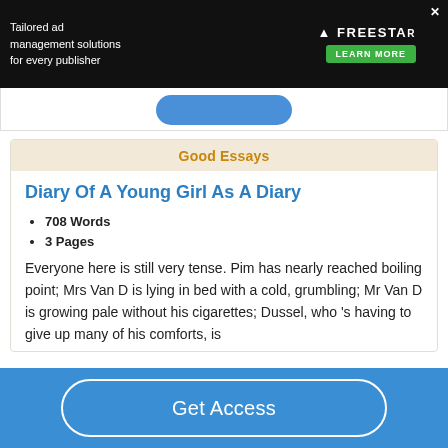[Figure (screenshot): Advertisement banner: dark background with text 'Tailored ad management solutions for every publisher', Freestar logo, and green 'LEARN MORE' button]
Good Essays
Diary Of A Young Girl As A Diary
708 Words
3 Pages
Everyone here is still very tense. Pim has nearly reached boiling point; Mrs Van D is lying in bed with a cold, grumbling; Mr Van D is growing pale without his cigarettes; Dussel, who 's having to give up many of his comforts, is
Get Access